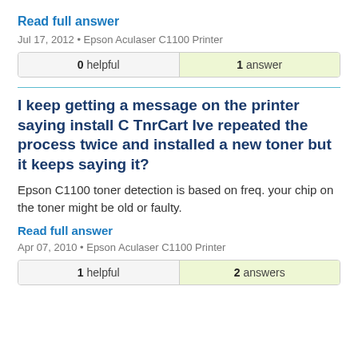Read full answer
Jul 17, 2012 • Epson Aculaser C1100 Printer
| 0 helpful | 1 answer |
I keep getting a message on the printer saying install C TnrCart Ive repeated the process twice and installed a new toner but it keeps saying it?
Epson C1100 toner detection is based on freq. your chip on the toner might be old or faulty.
Read full answer
Apr 07, 2010 • Epson Aculaser C1100 Printer
| 1 helpful | 2 answers |